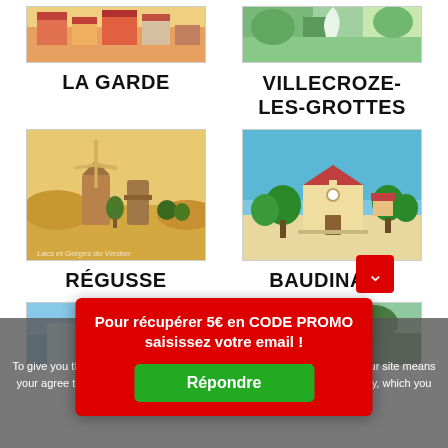[Figure (illustration): Partial top of illustrated poster for La Garde — colorful rooftops]
[Figure (illustration): Partial top of illustrated poster for Villecroze-Les-Grottes — green landscape with waterfall]
LA GARDE
VILLECROZE-LES-GROTTES
[Figure (illustration): Illustrated poster for Régusse — windmill and tower in golden landscape with text 'Lacs et Gorges du Verdon']
[Figure (illustration): Illustrated poster for Baudinard — church with red roof, cypress trees, blue lake background]
RÉGUSSE
BAUDINARD
[Figure (illustration): Partial bottom illustration — blue tones, partially obscured by overlay]
[Figure (illustration): Partial bottom illustration — green/dark tones, partially obscured by overlay]
Pour récupérer 5€ en CODE PROMO saisissez votre email !
To give you the best possible experience, this site uses cookies. Using your site means your agree to our use of cookies. We have published a new cookies policy, which you should need to find out more about the cookies we use.